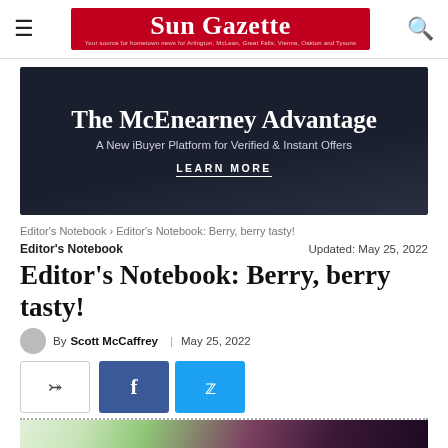Sun Gazette — Your source for hometown news for Arlington, McLean, Great Falls, Vienna, Oakton and Tysons
[Figure (screenshot): Advertisement banner for The McEnearney Advantage — A New iBuyer Platform for Verified & Instant Offers — LEARN MORE]
Editor's Notebook › Editor's Notebook: Berry, berry tasty!
Editor's Notebook
Updated: May 25, 2022
Editor's Notebook: Berry, berry tasty!
By Scott McCaffrey | May 25, 2022
[Figure (photo): Close-up photo of mixed berries including raspberries and blackberries with green leaves]